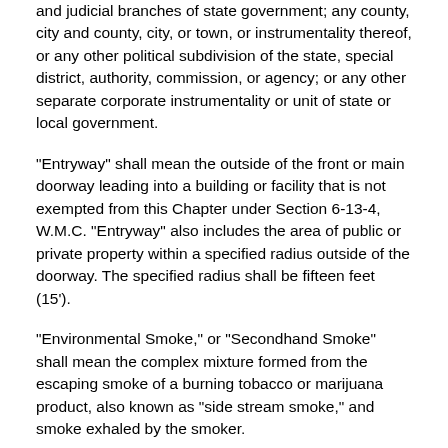and judicial branches of state government; any county, city and county, city, or town, or instrumentality thereof, or any other political subdivision of the state, special district, authority, commission, or agency; or any other separate corporate instrumentality or unit of state or local government.
"Entryway" shall mean the outside of the front or main doorway leading into a building or facility that is not exempted from this Chapter under Section 6-13-4, W.M.C. "Entryway" also includes the area of public or private property within a specified radius outside of the doorway. The specified radius shall be fifteen feet (15').
"Environmental Smoke," or "Secondhand Smoke" shall mean the complex mixture formed from the escaping smoke of a burning tobacco or marijuana product, also known as "side stream smoke," and smoke exhaled by the smoker.
"Food Service Establishment" shall mean any indoor area or portion thereof in which the principal business is the sale of food for on-premises consumption. The term includes, without limitation, restaurants, cafeterias, coffee shops, diners, sandwich shops, and short-order cafes.
"Indoor Area" shall mean any enclosed area or portion thereof. The